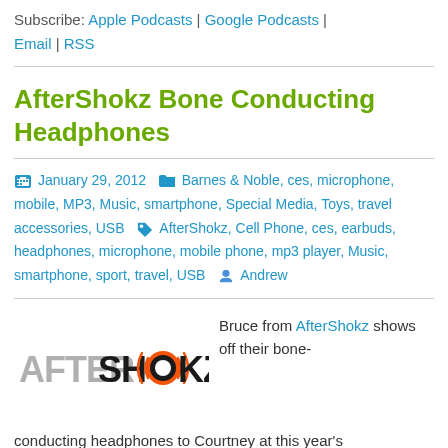Subscribe: Apple Podcasts | Google Podcasts | Email | RSS
AfterShokz Bone Conducting Headphones
January 29, 2012  Barnes & Noble, ces, microphone, mobile, MP3, Music, smartphone, Special Media, Toys, travel accessories, USB  AfterShokz, Cell Phone, ces, earbuds, headphones, microphone, mobile phone, mp3 player, Music, smartphone, sport, travel, USB  Andrew
[Figure (logo): AfterShokz logo with radio wave icon]
Bruce from AfterShokz shows off their bone-conducting headphones to Courtney at this year's